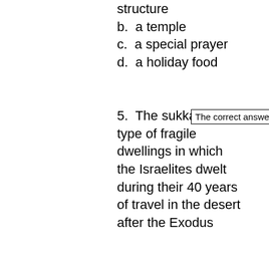structure
b.  a temple
c.  a special prayer
d.  a holiday food
5.  The sukkah is the type of fragile dwellings in which the Israelites dwelt during their 40 years of travel in the desert after the Exodus
The correct answer is ...